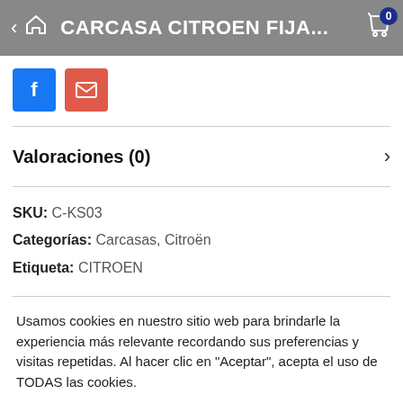CARCASA CITROEN FIJA...
[Figure (screenshot): Facebook and email social share buttons]
Valoraciones (0)
SKU: C-KS03
Categorías: Carcasas, Citroën
Etiqueta: CITROEN
Usamos cookies en nuestro sitio web para brindarle la experiencia más relevante recordando sus preferencias y visitas repetidas. Al hacer clic en "Aceptar", acepta el uso de TODAS las cookies.
Ajustes de cookies    Aceptar